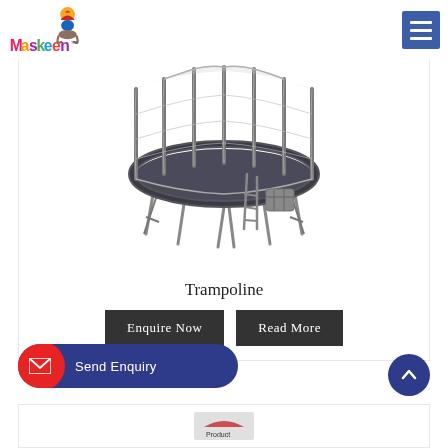Maskeen (logo) — navigation menu (hamburger icon)
[Figure (photo): A large round trampoline with black safety net enclosure, multiple vertical poles, a step ladder on the side, and a storage basket. Product photo on white background.]
Trampoline
Enquire Now   Read More
Send Enquiry
[Figure (photo): Partial view of another product card below, showing a red and white product partially cut off at the bottom.]